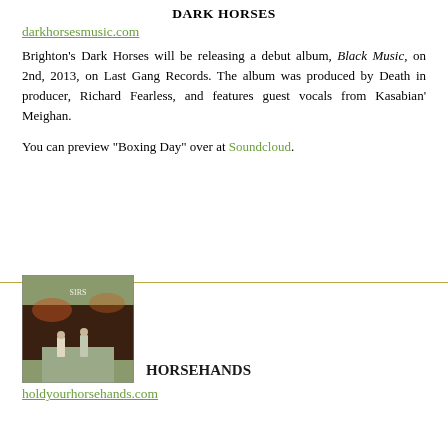DARK HORSES
darkhorsesmusic.com
Brighton's Dark Horses will be releasing a debut album, Black Music, on 2nd, 2013, on Last Gang Records. The album was produced by Death in producer, Richard Fearless, and features guest vocals from Kasabian's Meighan.
You can preview "Boxing Day" over at Soundcloud.
[Figure (photo): Album cover showing two people walking on a road with a hillside backdrop and text 'SIRS' visible]
HORSEHANDS
holdyourhorsehands.com